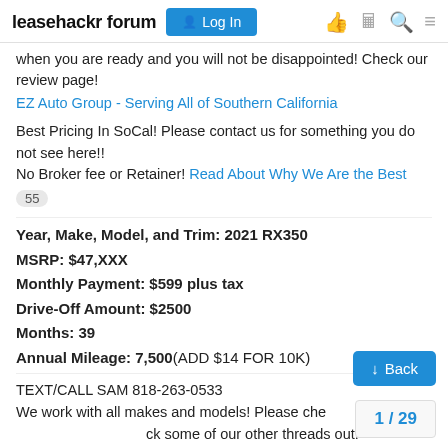leasehackr forum  Log In
when you are ready and you will not be disappointed! Check our review page!
EZ Auto Group - Serving All of Southern California
Best Pricing In SoCal! Please contact us for something you do not see here!! No Broker fee or Retainer! Read About Why We Are the Best
55
Year, Make, Model, and Trim: 2021 RX350
MSRP: $47,XXX
Monthly Payment: $599 plus tax
Drive-Off Amount: $2500
Months: 39
Annual Mileage: 7,500(ADD $14 FOR 10K)
TEXT/CALL SAM 818-263-0533
We work with all makes and models! Please check some of our other threads out!
EZ AUTO GROUP Audi Thread 🚀
1 / 29